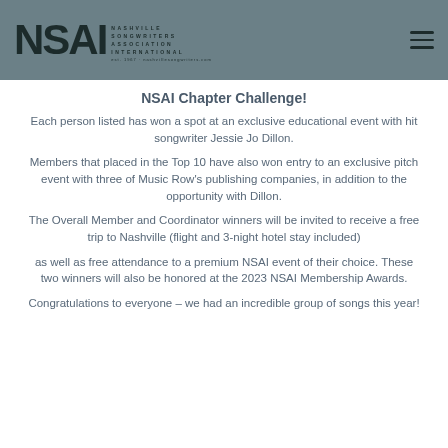NSAI Nashville Songwriters Association International
NSAI Chapter Challenge!
Each person listed has won a spot at an exclusive educational event with hit songwriter Jessie Jo Dillon.
Members that placed in the Top 10 have also won entry to an exclusive pitch event with three of Music Row's publishing companies, in addition to the opportunity with Dillon.
The Overall Member and Coordinator winners will be invited to receive a free trip to Nashville (flight and 3-night hotel stay included)
as well as free attendance to a premium NSAI event of their choice. These two winners will also be honored at the 2023 NSAI Membership Awards.
Congratulations to everyone – we had an incredible group of songs this year!